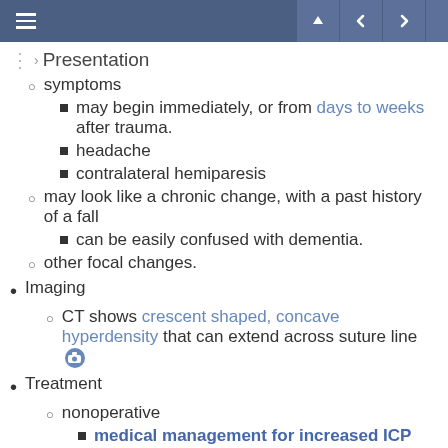Navigation bar with menu, up, back, forward buttons
Presentation (breadcrumb/section header)
symptoms
may begin immediately, or from days to weeks after trauma.
headache
contralateral hemiparesis
may look like a chronic change, with a past history of a fall
can be easily confused with dementia.
other focal changes.
Imaging
CT shows crescent shaped, concave hyperdensity that can extend across suture line [camera icon]
Treatment
nonoperative
medical management for increased ICP